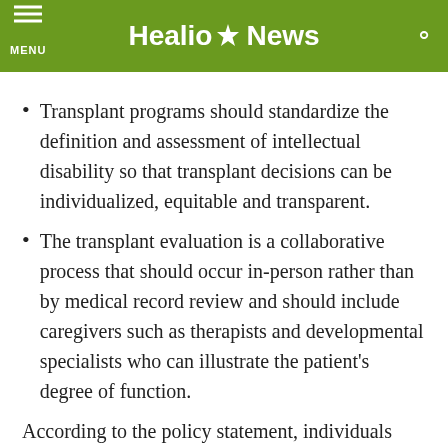Healio News
Transplant programs should standardize the definition and assessment of intellectual disability so that transplant decisions can be individualized, equitable and transparent.
The transplant evaluation is a collaborative process that should occur in-person rather than by medical record review and should include caregivers such as therapists and developmental specialists who can illustrate the patient's degree of function.
According to the policy statement, individuals with disabilities rate their own quality of life higher than